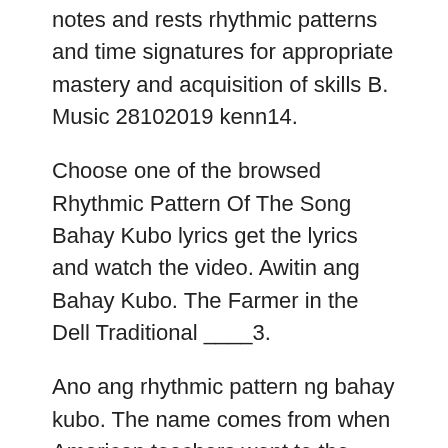notes and rests rhythmic patterns and time signatures for appropriate mastery and acquisition of skills B. Music 28102019 kenn14.
Choose one of the browsed Rhythmic Pattern Of The Song Bahay Kubo lyrics get the lyrics and watch the video. Awitin ang Bahay Kubo. The Farmer in the Dell Traditional ____3.
Ano ang rhythmic pattern ng bahay kubo. The name comes from when American teachers went to the Philippines to teach. It can give you a sense of achievement.
Some sounds with a specific pitch are called notes. Rhythmic Pattern Of The Song Bahay Kubo lyrics. Browse for Rhythmic Pattern Of The Song Bahay Kubo song lyrics by entered search